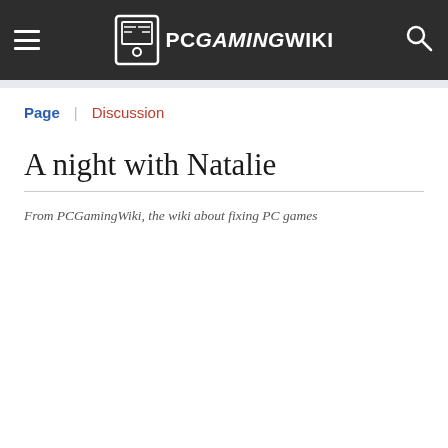PCGamingWiki
Page | Discussion
A night with Natalie
From PCGamingWiki, the wiki about fixing PC games